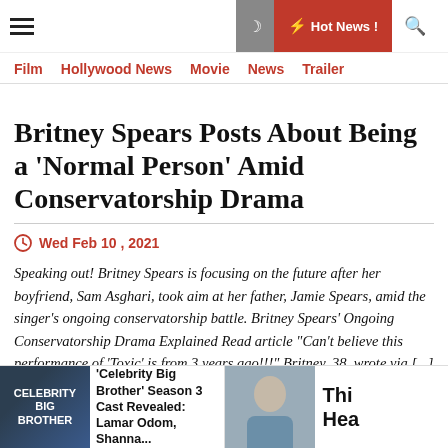Hot News | Film Hollywood News Movie News Trailer
Britney Spears Posts About Being a ‘Normal Person’ Amid Conservatorship Drama
Wed Feb 10 , 2021
Speaking out! Britney Spears is focusing on the future after her boyfriend, Sam Asghari, took aim at her father, Jamie Spears, amid the singer’s ongoing conservatorship battle. Britney Spears’ Ongoing Conservatorship Drama Explained Read article “Can’t believe this performance of ‘Toxic’ is from 3 years ago!!!” Britney, 38, wrote via [...]
'Celebrity Big Brother' Season 3 Cast Revealed: Lamar Odom, Shanna...
Thi Hea